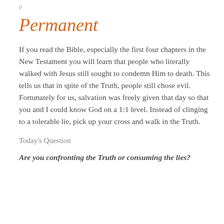p…
Permanent
If you read the Bible, especially the first four chapters in the New Testament you will learn that people who literally walked with Jesus still sought to condemn Him to death. This tells us that in spite of the Truth, people still chose evil. Fortunately for us, salvation was freely given that day so that you and I could know God on a 1:1 level. Instead of clinging to a tolerable lie, pick up your cross and walk in the Truth.
Today's Question
Are you confronting the Truth or consuming the lies?